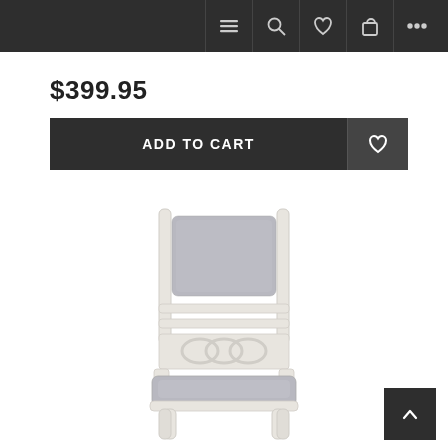Navigation bar with menu, search, wishlist, cart, and more icons
$399.95
ADD TO CART
[Figure (photo): A dining chair with a white/cream wood frame featuring decorative interlocking ring detail on the back, and gray upholstered seat and back cushions.]